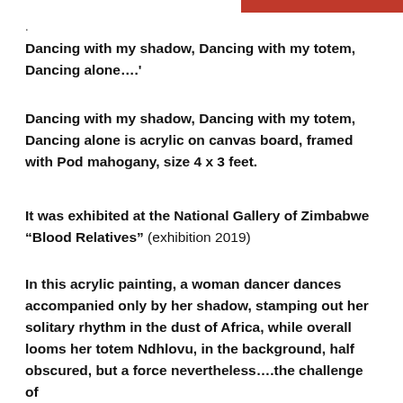.
Dancing with my shadow, Dancing with my totem, Dancing alone….'
Dancing with my shadow, Dancing with my totem, Dancing alone is acrylic on canvas board, framed with Pod mahogany, size 4 x 3 feet.
It was exhibited at the National Gallery of Zimbabwe “Blood Relatives” (exhibition 2019)
In this acrylic painting, a woman dancer dances accompanied only by her shadow, stamping out her solitary rhythm in the dust of Africa, while overall looms her totem Ndhlovu, in the background, half obscured, but a force nevertheless….the challenge of